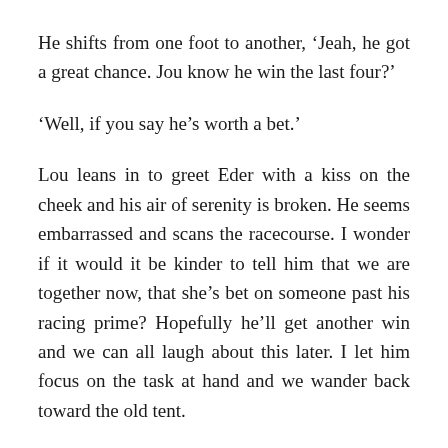He shifts from one foot to another, ‘Jeah, he got a great chance. Jou know he win the last four?’
‘Well, if you say he’s worth a bet.’
Lou leans in to greet Eder with a kiss on the cheek and his air of serenity is broken. He seems embarrassed and scans the racecourse. I wonder if it would it be kinder to tell him that we are together now, that she’s bet on someone past his racing prime? Hopefully he’ll get another win and we can all laugh about this later. I let him focus on the task at hand and we wander back toward the old tent.
The old woman behind the plastic tub passes me two more cans and holds out her leathery hand for the